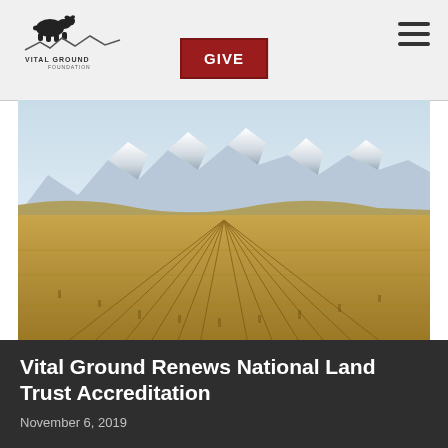VITAL GROUND FOUNDATION | GIVE
[Figure (photo): Wide-angle photograph of a harvested grain field with golden stubble rows converging toward the horizon, snow-capped mountain range in the background under a light blue sky.]
Vital Ground Renews National Land Trust Accreditation
November 6, 2019